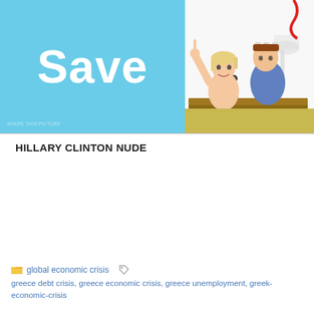[Figure (illustration): Two images side by side: left image shows a blue background with large white bold text 'Save' and a faint watermark at bottom left; right image is a cartoon/caricature drawing showing figures at what appears to be a podium or desk, with capitol building in background.]
HILLARY CLINTON NUDE
global economic crisis
greece debt crisis, greece economic crisis, greece unemployment, greek-economic-crisis